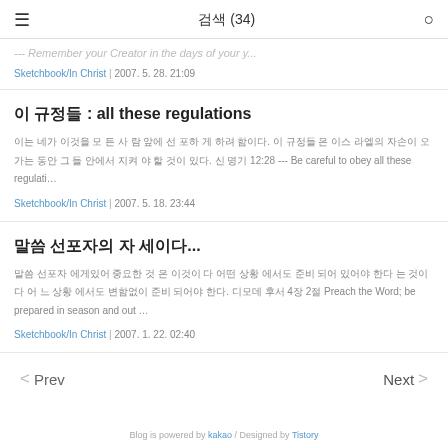검색 (34)
--- Remember your Creator in the days of your y...
Sketchbook/In Christ | 2007. 5. 28. 21:09
이 규정들 : all these regulations
이는 네가 이것을 모 든 사람 앞에 선 포하 게 하려 함이다. 이 규정들 은 이스 라엘의 자손이 오 가는 동안 그 들 안에서 지켜 야 할 것이 있다. 신 명기 12:28 --- Be careful to obey all these regulati…
Sketchbook/In Christ | 2007. 5. 18. 23:44
말씀 선포자의 자 세이다...
말씀 선포자 에게있어 중요한 것 은 이것이 다 어떤 상황 에서도 준비 되어 있어야 한다 는 것이다 어 느 상황 에서도 변함없이 준비 되어야 한다. 디모데 후서 4장 2절 Preach the Word; be prepared in season and out …
Sketchbook/In Christ | 2007. 1. 22. 02:40
< Prev
Next >
Blog is powered by kakao / Designed by Tistory